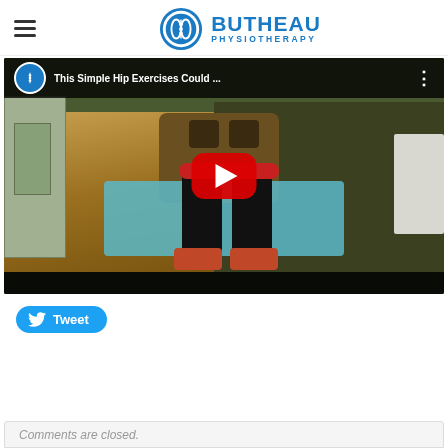[Figure (logo): Butheau Physiotherapy logo with hamburger menu icon on the left and the company logo (circular spine icon with company name) centered in the header]
[Figure (screenshot): YouTube video embed showing 'This Simple Hip Exercises Could ...' with a play button overlay. Video thumbnail shows a person lying on a blue yoga mat doing a hip exercise, with hardwood flooring and a rug visible in the background.]
[Figure (other): Tweet button with Twitter bird icon]
Comments are closed.